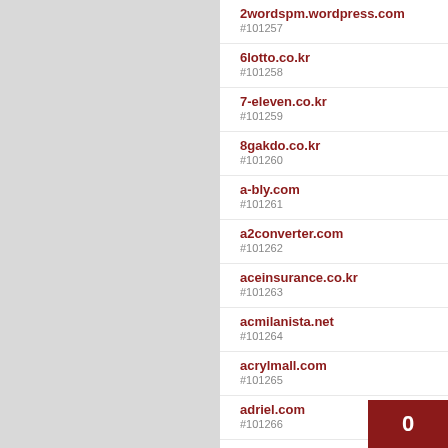#101257 2wordspm.wordpress.com
#101258 6lotto.co.kr
#101259 7-eleven.co.kr
#101260 8gakdo.co.kr
#101261 a-bly.com
#101262 a2converter.com
#101263 aceinsurance.co.kr
#101264 acmilanista.net
#101265 acrylmall.com
#101266 adriel.com
#101267 aekyeongclean.co.kr
#101268 aimei.com
#101269 ajou.ac.kr